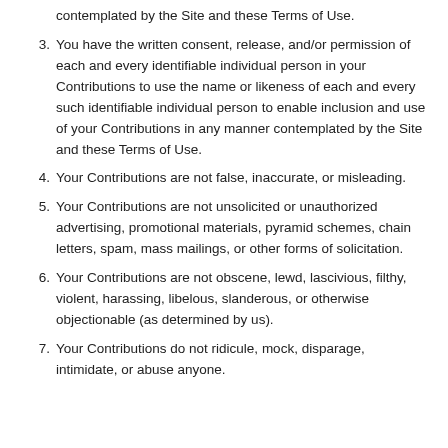contemplated by the Site and these Terms of Use.
3. You have the written consent, release, and/or permission of each and every identifiable individual person in your Contributions to use the name or likeness of each and every such identifiable individual person to enable inclusion and use of your Contributions in any manner contemplated by the Site and these Terms of Use.
4. Your Contributions are not false, inaccurate, or misleading.
5. Your Contributions are not unsolicited or unauthorized advertising, promotional materials, pyramid schemes, chain letters, spam, mass mailings, or other forms of solicitation.
6. Your Contributions are not obscene, lewd, lascivious, filthy, violent, harassing, libelous, slanderous, or otherwise objectionable (as determined by us).
7. Your Contributions do not ridicule, mock, disparage, intimidate, or abuse anyone.